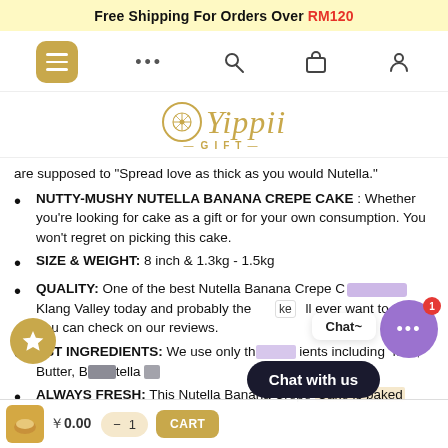Free Shipping For Orders Over RM120
[Figure (logo): Yippii Gift logo with decorative circular emblem and gold script text]
are supposed to “Spread love as thick as you would Nutella.”
NUTTY-MUSHY NUTELLA BANANA CREPE CAKE : Whether you’re looking for cake as a gift or for your own consumption. You won't regret on picking this cake.
SIZE & WEIGHT: 8 inch & 1.3kg - 1.5kg
QUALITY: One of the best Nutella Banana Crepe C... Klang Valley today and probably the ...ke ...ll ever want to try! You can check on our reviews.
EST INGREDIENTS: We use only th... ients including  Milk, Butter, B... tella ...
ALWAYS FRESH: This Nutella Banana Crepe Cake is baked